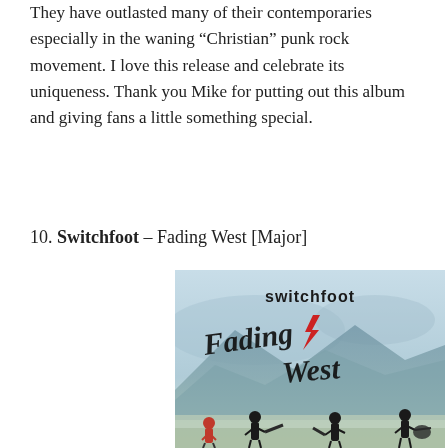They have outlasted many of their contemporaries especially in the waning “Christian” punk rock movement. I love this release and celebrate its uniqueness. Thank you Mike for putting out this album and giving fans a little something special.
10. Switchfoot – Fading West [Major]
[Figure (photo): Album cover for Switchfoot's 'Fading West'. Features the text 'switchfoot' at the top in sans-serif and 'Fading West' in large handwritten script below it with a red lightning bolt. Background shows a watercolor-style mountain/sky landscape in blue and teal tones. Silhouettes of four people (band members) stand at the bottom, one in red jacket, three in dark clothing carrying surfboards/guitars.]